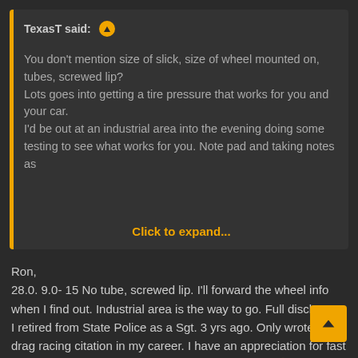TexasT said: ↑
You don't mention size of slick, size of wheel mounted on, tubes, screwed lip?
Lots goes into getting a tire pressure that works for you and your car.
I'd be out at an industrial area into the evening doing some testing to see what works for you. Note pad and taking notes as you go, every adjustment, pressure and size...
Click to expand...
Ron,
28.0. 9.0- 15 No tube, screwed lip. I'll forward the wheel info when I find out. Industrial area is the way to go. Full disclosure, I retired from State Police as a Sgt. 3 yrs ago. Only wrote 1 drag racing citation in my career. I have an appreciation for fast cars. (Especially the ones that let me catch them! 😀) Also still have respect for my Brothers still working in these messy times. What I did is found a straight dead end road, went to my boys and said, hey! I gotta do some hits before I take it to the track. If I lose it, we off the road and can help someone out. I'll call you and I'll...